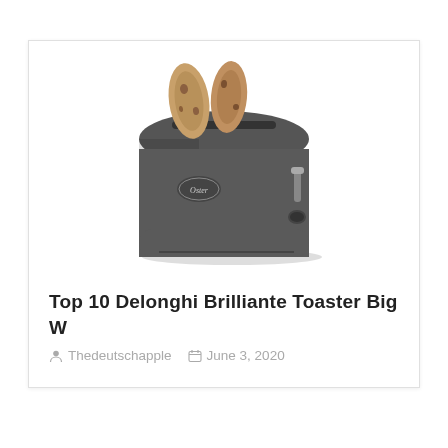[Figure (photo): A dark gray/black Oster brand toaster with two slices of bread inserted, photographed on a white background.]
Top 10 Delonghi Brilliante Toaster Big W
Thedeutschapple   June 3, 2020